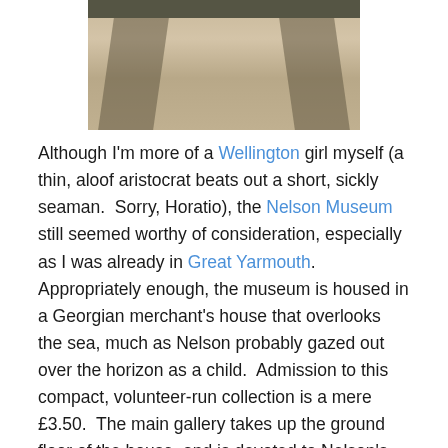[Figure (photo): Bottom portion of a photograph showing legs/feet with gravel ground below and shadows cast on it, cut off at top]
Although I'm more of a Wellington girl myself (a thin, aloof aristocrat beats out a short, sickly seaman.  Sorry, Horatio), the Nelson Museum still seemed worthy of consideration, especially as I was already in Great Yarmouth.  Appropriately enough, the museum is housed in a Georgian merchant's house that overlooks the sea, much as Nelson probably gazed out over the horizon as a child.  Admission to this compact, volunteer-run collection is a mere £3.50.  The main gallery takes up the ground floor of the house, and is devoted to Nelson's life-story, mainly accompanied by portraits and some commemorative china, although there were a few interactive things, like ropes for knot-tying practice, and